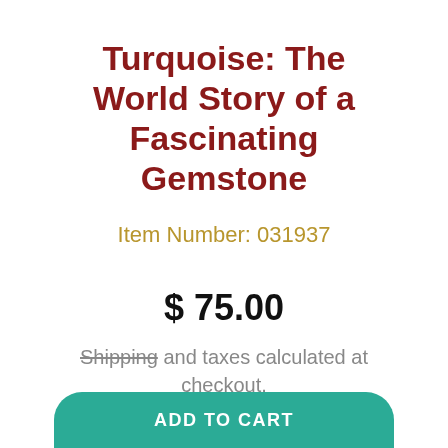Turquoise: The World Story of a Fascinating Gemstone
Item Number: 031937
$ 75.00
Shipping and taxes calculated at checkout.
ADD TO CART